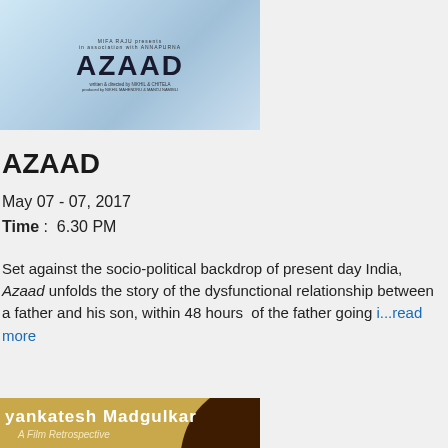[Figure (photo): Movie poster for AZAAD with blue/gray tones, text: presented by MIFA RAJU, produced by ANNAPURNA, written and directed by NIKHIL & CHITELA, produced by NIKHIL MAHENDRU & MANOJ NAMBILI]
AZAAD
May 07 - 07, 2017
Time :  6.30 PM
Set against the socio-political backdrop of present day India, Azaad unfolds the story of the dysfunctional relationship between a father and his son, within 48 hours  of the father going ...read more
[Figure (photo): Event banner for Vyankatesh Madgulkar A Film Retrospective with golden/brown colors featuring a film reel, rooster illustration, and logos for sponsors]